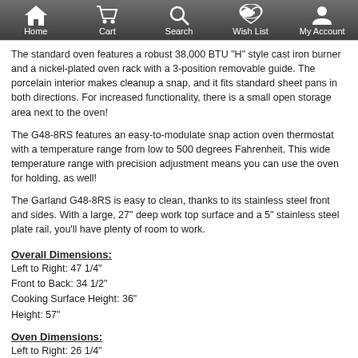Home  Cart  Search  Wish List  My Account
The standard oven features a robust 38,000 BTU "H" style cast iron burner and a nickel-plated oven rack with a 3-position removable guide. The porcelain interior makes cleanup a snap, and it fits standard sheet pans in both directions. For increased functionality, there is a small open storage area next to the oven!
The G48-8RS features an easy-to-modulate snap action oven thermostat with a temperature range from low to 500 degrees Fahrenheit. This wide temperature range with precision adjustment means you can use the oven for holding, as well!
The Garland G48-8RS is easy to clean, thanks to its stainless steel front and sides. With a large, 27" deep work top surface and a 5" stainless steel plate rail, you'll have plenty of room to work.
Overall Dimensions:
Left to Right: 47 1/4"
Front to Back: 34 1/2"
Cooking Surface Height: 36"
Height: 57"
Oven Dimensions:
Left to Right: 26 1/4"
Front to Back: 26"